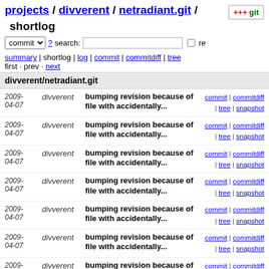projects / divverent / netradiant.git / shortlog
commit search: re
summary | shortlog | log | commit | commitdiff | tree
first · prev · next
divverent/netradiant.git
2009-04-07 divverent bumping revision because of file with accidentally... commit | commitdiff | tree | snapshot
2009-04-07 divverent bumping revision because of file with accidentally... commit | commitdiff | tree | snapshot
2009-04-07 divverent bumping revision because of file with accidentally... commit | commitdiff | tree | snapshot
2009-04-07 divverent bumping revision because of file with accidentally... commit | commitdiff | tree | snapshot
2009-04-07 divverent bumping revision because of file with accidentally... commit | commitdiff | tree | snapshot
2009-04-07 divverent bumping revision because of file with accidentally... commit | commitdiff | tree | snapshot
2009-04-07 divverent bumping revision because of file with accidentally... commit | commitdiff | tree | snapshot
2009-04-07 divverent bumping revision because of file with accidentally... commit | commitdiff | tree | snapshot
2009- divverent bumping revision because of file with accidentally... commit | commitdiff | tree | snapshot